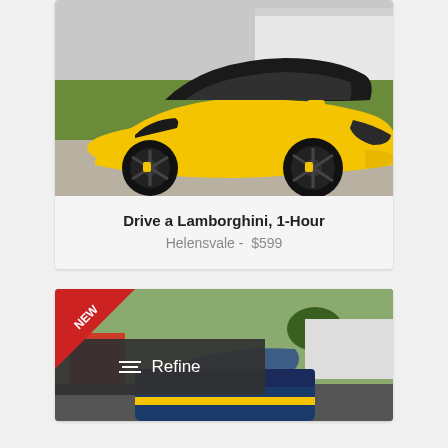[Figure (photo): Yellow Lamborghini convertible sports car with black soft top and black wheels, parked on a concrete surface with green grass and white building in background]
Drive a Lamborghini, 1-Hour
Helensvale -  $599
[Figure (photo): Partial view of a yellow/blue sports car at a racing venue with trees and red building visible; NEW badge in top-left corner; Refine overlay button in center]
Refine